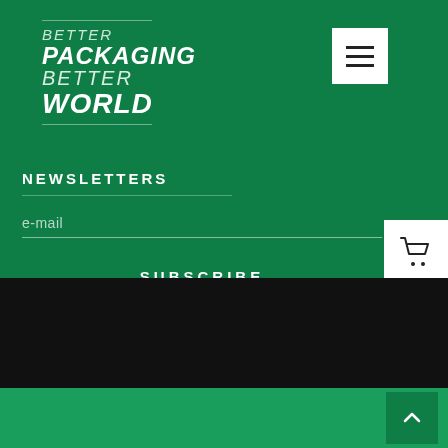BETTER PACKAGING BETTER WORLD
NEWSLETTERS
e-mail
SUBSCRIBE
[Figure (screenshot): Black section footer area]
[Figure (other): Back to top arrow button]